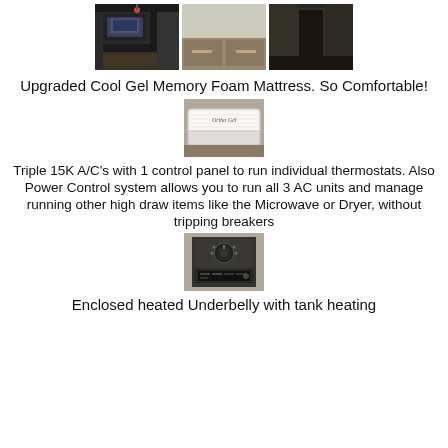[Figure (photo): Three interior RV photos side by side showing living area with TV, bedroom/dresser area, and doorway]
Upgraded Cool Gel Memory Foam Mattress. So Comfortable!
[Figure (photo): Close-up photo of a white memory foam mattress with 'Ortho Gel' branding]
Triple 15K A/C's with 1 control panel to run individual thermostats. Also Power Control system allows you to run all 3 AC units and manage running other high draw items like the Microwave or Dryer, without tripping breakers
[Figure (photo): Photo of a power control panel with dial and digital display]
Enclosed heated Underbelly with tank heating